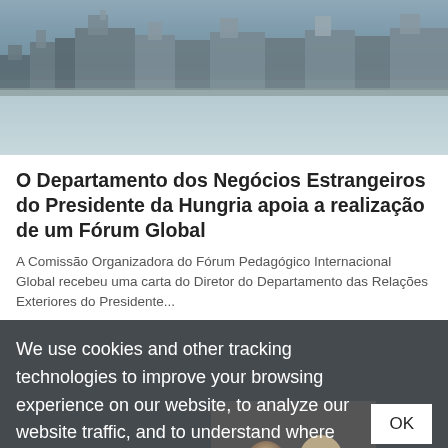[Figure (photo): Aerial or riverside view of Budapest cityscape with water and buildings]
O Departamento dos Negócios Estrangeiros do Presidente da Hungria apoia a realização de um Fórum Global
A Comissão Organizadora do Fórum Pedagógico Internacional Global recebeu uma carta do Diretor do Departamento das Relações Exteriores do Presidente...
We use cookies and other tracking technologies to improve your browsing experience on our website, to analyze our website traffic, and to understand where our visitors are coming from. By browsing our website, you consent to our use of cookies and other tracking technologies. To find out more, please visit our Privacy Policy.